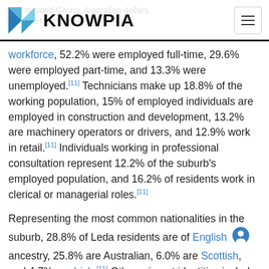KNOWPIA
workforce, 52.2% were employed full-time, 29.6% were employed part-time, and 13.3% were unemployed.[11] Technicians make up 18.8% of the working population, 15% of employed individuals are employed in construction and development, 13.2% are machinery operators or drivers, and 12.9% work in retail.[11] Individuals working in professional consultation represent 12.2% of the suburb's employed population, and 16.2% of residents work in clerical or managerial roles.[11]
Representing the most common nationalities in the suburb, 28.8% of Leda residents are of English ancestry, 25.8% are Australian, 6.0% are Scottish, and 4.7% are Irish.[11] Other migrant identities include